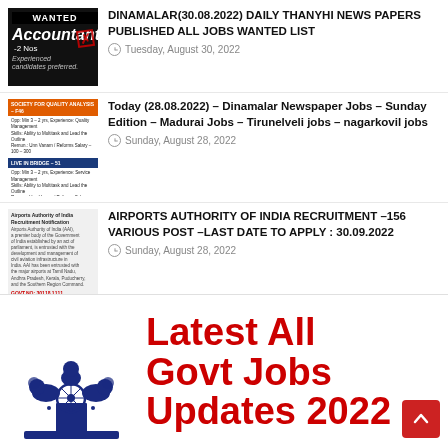[Figure (screenshot): Thumbnail image of a 'WANTED Accountant -2 Nos Experienced candidates preferred' job advertisement with a red stamp overlay]
DINAMALAR(30.08.2022) DAILY THANYHI NEWS PAPERS PUBLISHED ALL JOBS WANTED LIST
Tuesday, August 30, 2022
[Figure (screenshot): Thumbnail of a colored newspaper job listing with orange, blue, and red section headers showing Tamil Nadu job advertisements]
Today (28.08.2022) – Dinamalar Newspaper Jobs – Sunday Edition – Madurai Jobs – Tirunelveli jobs – nagarkovil jobs
Sunday, August 28, 2022
[Figure (screenshot): Thumbnail of Airports Authority of India recruitment article with text content about 156 various posts]
AIRPORTS AUTHORITY OF INDIA RECRUITMENT –156 VARIOUS POST –LAST DATE TO APPLY : 30.09.2022
Sunday, August 28, 2022
[Figure (illustration): Indian government emblem (Ashoka Lion Capital) in blue, alongside bold red text reading 'Latest All Govt Jobs Updates 2022']